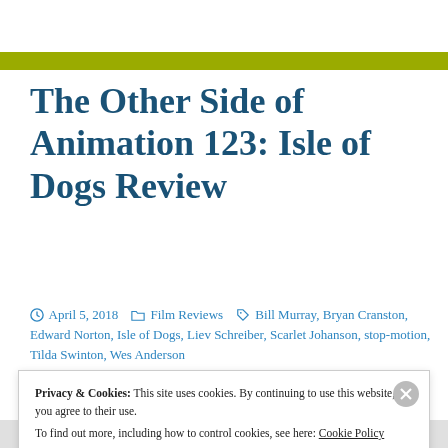The Other Side of Animation 123: Isle of Dogs Review
April 5, 2018  Film Reviews  Bill Murray, Bryan Cranston, Edward Norton, Isle of Dogs, Liev Schreiber, Scarlet Johanson, stop-motion, Tilda Swinton, Wes Anderson
Privacy & Cookies: This site uses cookies. By continuing to use this website, you agree to their use. To find out more, including how to control cookies, see here: Cookie Policy